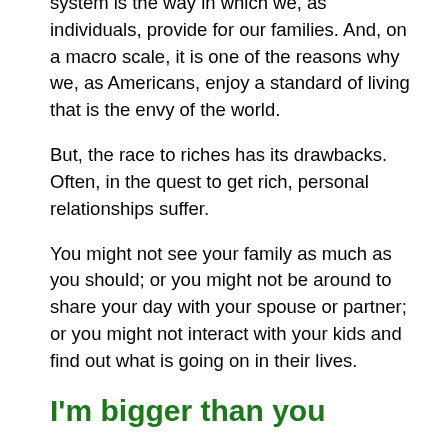system is the way in which we, as individuals, provide for our families. And, on a macro scale, it is one of the reasons why we, as Americans, enjoy a standard of living that is the envy of the world.
But, the race to riches has its drawbacks. Often, in the quest to get rich, personal relationships suffer.
You might not see your family as much as you should; or you might not be around to share your day with your spouse or partner; or you might not interact with your kids and find out what is going on in their lives.
I'm bigger than you
Your health is also something that more than likely will suffer from a narrow-minded focus on